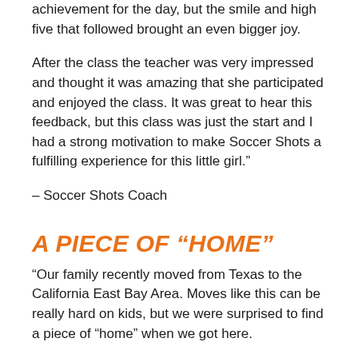achievement for the day, but the smile and high five that followed brought an even bigger joy.
After the class the teacher was very impressed and thought it was amazing that she participated and enjoyed the class. It was great to hear this feedback, but this class was just the start and I had a strong motivation to make Soccer Shots a fulfilling experience for this little girl.”
– Soccer Shots Coach
A PIECE OF “HOME”
“Our family recently moved from Texas to the California East Bay Area. Moves like this can be really hard on kids, but we were surprised to find a piece of “home” when we got here.
My daughter attended Soccer Shots at her school in Texas and she absolutely loved it. Imagine our surprise when we found Soccer Shots at the school in our new home town!